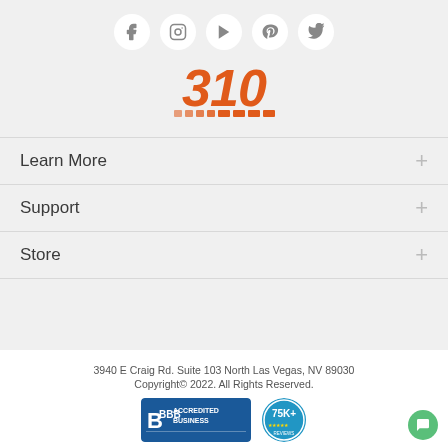[Figure (other): Social media icons: Facebook, Instagram, YouTube, Pinterest, Twitter in white circles]
[Figure (logo): 310 brand logo in orange italic bold numerals with orange bar stripes beneath]
Learn More +
Support +
Store +
3940 E Craig Rd. Suite 103 North Las Vegas, NV 89030
Copyright© 2022. All Rights Reserved.
[Figure (other): BBB Accredited Business badge and 75K+ reviews badge]